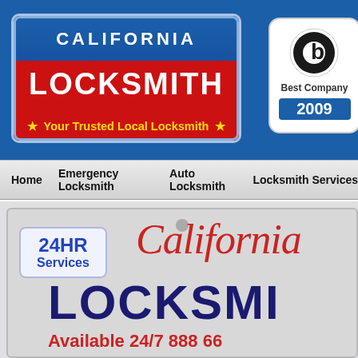[Figure (logo): California Locksmith logo badge: blue top section with CALIFORNIA text, red bottom arch section with LOCKSMITH and tagline 'Your Trusted Local Locksmith' with stars]
[Figure (logo): Best Company 2009 badge with circular b logo]
Home | Emergency Locksmith | Auto Locksmith | Locksmith Services
[Figure (screenshot): California license plate style image showing '24HR Services' badge, 'California' script text in red, 'LOCKSMITH' in large dark blue bold text, and 'Available 24/7 888 66...' in red at bottom]